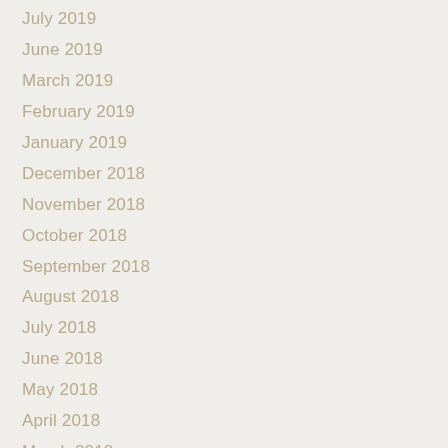July 2019
June 2019
March 2019
February 2019
January 2019
December 2018
November 2018
October 2018
September 2018
August 2018
July 2018
June 2018
May 2018
April 2018
March 2018